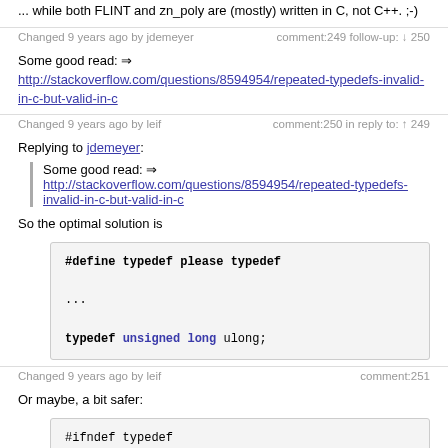... while both FLINT and zn_poly are (mostly) written in C, not C++. ;-)
Changed 9 years ago by jdemeyer    comment:249 follow-up: ↓ 250
Some good read: ⇒
http://stackoverflow.com/questions/8594954/repeated-typedefs-invalid-in-c-but-valid-in-c
Changed 9 years ago by leif    comment:250 in reply to: ↑ 249
Replying to jdemeyer:
Some good read: ⇒
http://stackoverflow.com/questions/8594954/repeated-typedefs-invalid-in-c-but-valid-in-c
So the optimal solution is
#define typedef please typedef

...

typedef unsigned long ulong;
Changed 9 years ago by leif    comment:251
Or maybe, a bit safer:
#ifndef typedef
#define typedef please typedef